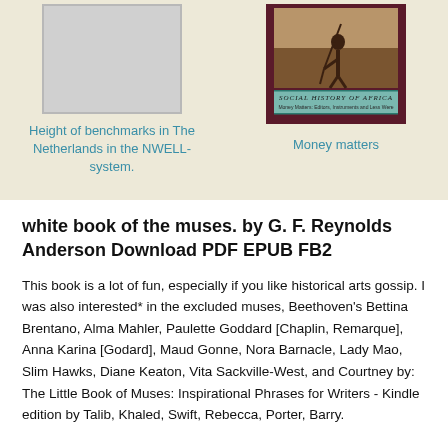[Figure (illustration): Blank/placeholder book cover with grey rectangle]
Height of benchmarks in The Netherlands in the NWELL-system.
[Figure (photo): Book cover for 'Social History of Africa' - Money matters, showing a person with a tool in a field]
Money matters
white book of the muses. by G. F. Reynolds Anderson Download PDF EPUB FB2
This book is a lot of fun, especially if you like historical arts gossip. I was also interested* in the excluded muses, Beethoven's Bettina Brentano, Alma Mahler, Paulette Goddard [Chaplin, Remarque], Anna Karina [Godard], Maud Gonne, Nora Barnacle, Lady Mao, Slim Hawks, Diane Keaton, Vita Sackville-West, and Courtney by: The Little Book of Muses: Inspirational Phrases for Writers - Kindle edition by Talib, Khaled, Swift, Rebecca, Porter, Barry.